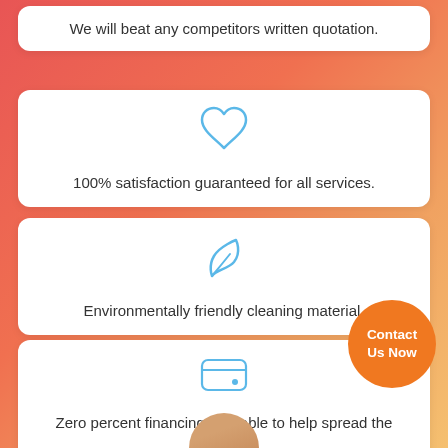We will beat any competitors written quotation.
[Figure (illustration): Blue heart icon]
100% satisfaction guaranteed for all services.
[Figure (illustration): Blue leaf/eco icon]
Environmentally friendly cleaning material.
[Figure (illustration): Blue wallet icon]
Zero percent financing available to help spread the cost.
[Figure (illustration): Orange Contact Us Now button circle]
[Figure (photo): Person silhouette at bottom of page]